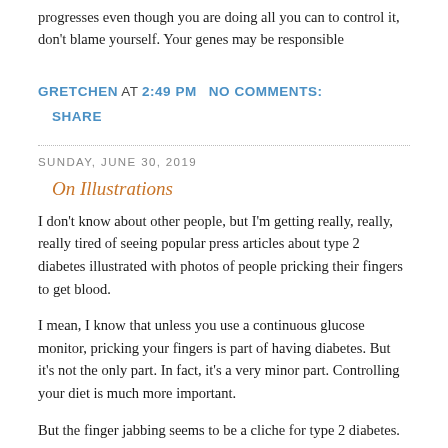progresses even though you are doing all you can to control it, don't blame yourself. Your genes may be responsible
GRETCHEN AT 2:49 PM   NO COMMENTS:
   SHARE
SUNDAY, JUNE 30, 2019
On Illustrations
I don't know about other people, but I'm getting really, really, really tired of seeing popular press articles about type 2 diabetes illustrated with photos of people pricking their fingers to get blood.
I mean, I know that unless you use a continuous glucose monitor, pricking your fingers is part of having diabetes. But it's not the only part. In fact, it's a very minor part. Controlling your diet is much more important.
But the finger jabbing seems to be a cliche for type 2 diabetes.
Another cliche I hate is that of a man and a woman, usually about 40 or 50 and trim, running along a deserted  beach, intended to illustrate